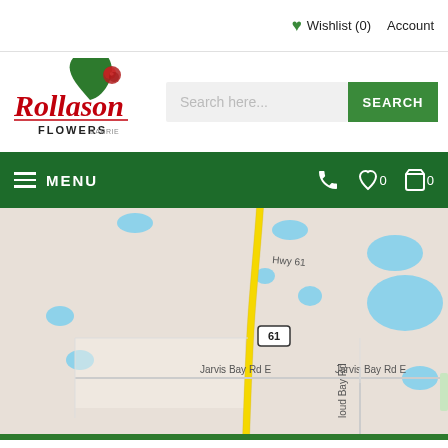Wishlist (0)  Account
[Figure (logo): Rollason Flowers logo — cursive red text with green leaf/flower illustration]
Search here...
SEARCH
MENU
[Figure (map): Google Maps screenshot showing rural area with Hwy 61 (yellow road) running north-south, Jarvis Bay Rd E crossing east-west, Loud Bay Rd crossing, small blue water bodies, road sign showing 61, at approximately Jarvis Bay area]